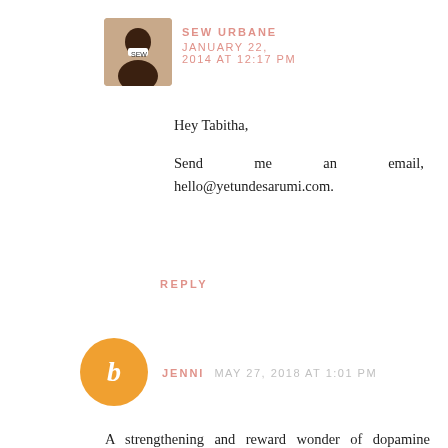SEW URBANE  JANUARY 22, 2014 AT 12:17 PM
Hey Tabitha,
Send me an email, hello@yetundesarumi.com.
REPLY
JENNI  MAY 27, 2018 AT 1:01 PM
A strengthening and reward wonder of dopamine creates in light of the fact that the dopamine that is discharged from the nerve endings starts a sentiment